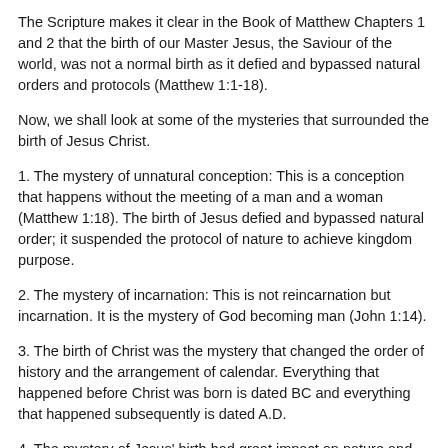The Scripture makes it clear in the Book of Matthew Chapters 1 and 2 that the birth of our Master Jesus, the Saviour of the world, was not a normal birth as it defied and bypassed natural orders and protocols (Matthew 1:1-18).
Now, we shall look at some of the mysteries that surrounded the birth of Jesus Christ.
1. The mystery of unnatural conception: This is a conception that happens without the meeting of a man and a woman (Matthew 1:18). The birth of Jesus defied and bypassed natural order; it suspended the protocol of nature to achieve kingdom purpose.
2. The mystery of incarnation: This is not reincarnation but incarnation. It is the mystery of God becoming man (John 1:14).
3. The birth of Christ was the mystery that changed the order of history and the arrangement of calendar. Everything that happened before Christ was born is dated BC and everything that happened subsequently is dated A.D.
4. The mystery of Jesus' birth had great impact on nature and creation. It